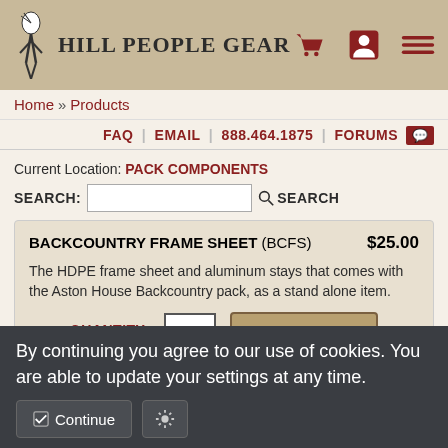Hill People Gear
Home » Products
FAQ | EMAIL | 888.464.1875 | FORUMS
Current Location: PACK COMPONENTS
SEARCH:
BACKCOUNTRY FRAME SHEET (BCFS) $25.00
The HDPE frame sheet and aluminum stays that comes with the Aston House Backcountry pack, as a stand alone item.
QUANTITY: 1  ADD TO CART
No Interest if paid in full in 6 months on purchases of $99+ with PayPal CREDIT. Learn more
By continuing you agree to our use of cookies. You are able to update your settings at any time.